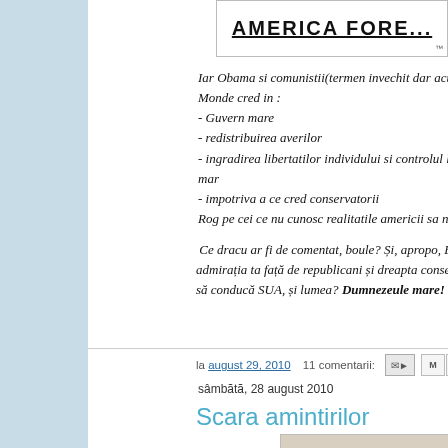[Figure (logo): AMERICA FORE... logo banner at top right, bold underlined text on white background with border]
Iar Obama si comunistii(termen invechit dar actual) fie ca sunt o... Monde cred in :
- Guvern mare
- redistribuirea averilor
- ingradirea libertatilor individului si controlul lui prin guvern mar...
- impotriva a ce cred conservatorii
Rog pe cei ce nu cunosc realitatile americii sa nu comenteze."
Ce dracu ar fi de comentat, boule? Și, apropo, Fumuresculo... admirația ta față de republicani și dreapta conservatoare ameri... să conducă SUA, și lumea? Dumnezeule mare!
la august 29, 2010   11 comentarii:
sâmbătă, 28 august 2010
Scara amintirilor
[Figure (illustration): Partial illustration/drawing visible at bottom right of page]